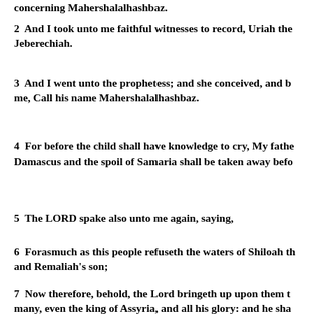concerning Mahershalalhashbaz.
2  And I took unto me faithful witnesses to record, Uriah the Jeberechiah.
3  And I went unto the prophetess; and she conceived, and b me, Call his name Mahershalalhashbaz.
4  For before the child shall have knowledge to cry, My fathe Damascus and the spoil of Samaria shall be taken away befo
5  The LORD spake also unto me again, saying,
6  Forasmuch as this people refuseth the waters of Shiloah th and Remaliah's son;
7  Now therefore, behold, the Lord bringeth up upon them t many, even the king of Assyria, and all his glory: and he sha and go over all his banks: